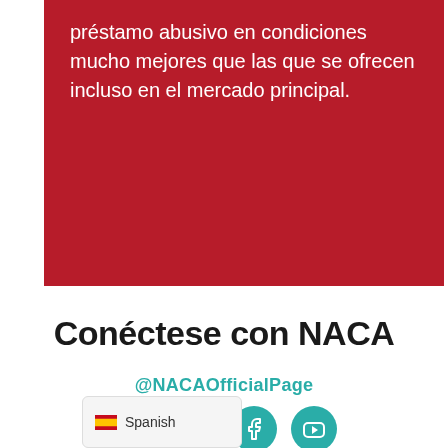préstamo abusivo en condiciones mucho mejores que las que se ofrecen incluso en el mercado principal.
Conéctese con NACA
@NACAOfficialPage
[Figure (infographic): Four teal circular social media icons: Instagram, Twitter, Facebook, YouTube]
Spanish